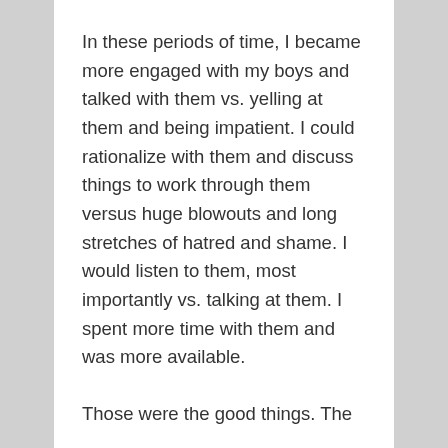In these periods of time, I became more engaged with my boys and talked with them vs. yelling at them and being impatient.  I could rationalize with them and discuss things to work through them versus huge blowouts and long stretches of hatred and shame.  I would listen to them, most importantly vs. talking at them.  I spent more time with them and was more available.
Those were the good things.  The